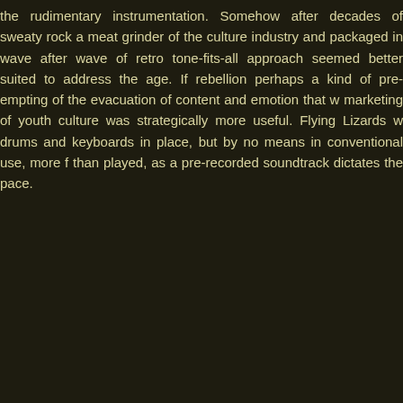the rudimentary instrumentation. Somehow after decades of sweaty rock a meat grinder of the culture industry and packaged in wave after wave of retro tone-fits-all approach seemed better suited to address the age. If rebellion perhaps a kind of pre-empting of the evacuation of content and emotion that w marketing of youth culture was strategically more useful. Flying Lizards w drums and keyboards in place, but by no means in conventional use, more f than played, as a pre-recorded soundtrack dictates the pace.